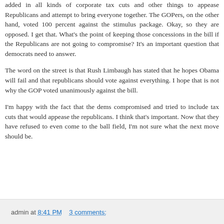added in all kinds of corporate tax cuts and other things to appease Republicans and attempt to bring everyone together. The GOPers, on the other hand, voted 100 percent against the stimulus package. Okay, so they are opposed. I get that. What's the point of keeping those concessions in the bill if the Republicans are not going to compromise? It's an important question that democrats need to answer.
The word on the street is that Rush Limbaugh has stated that he hopes Obama will fail and that republicans should vote against everything. I hope that is not why the GOP voted unanimously against the bill.
I'm happy with the fact that the dems compromised and tried to include tax cuts that would appease the republicans. I think that's important. Now that they have refused to even come to the ball field, I'm not sure what the next move should be.
admin at 8:41 PM    3 comments: